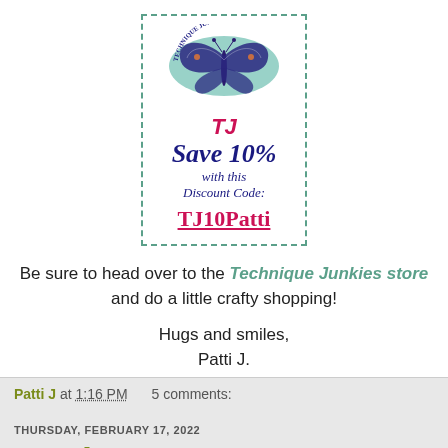[Figure (logo): Technique Junkies coupon with butterfly logo, 'TJ Save 10% with this Discount Code: TJ10Patti' in a dashed border box]
Be sure to head over to the Technique Junkies store and do a little crafty shopping!
Hugs and smiles, Patti J.
Patti J at 1:16 PM   5 comments:
THURSDAY, FEBRUARY 17, 2022
Rock Star